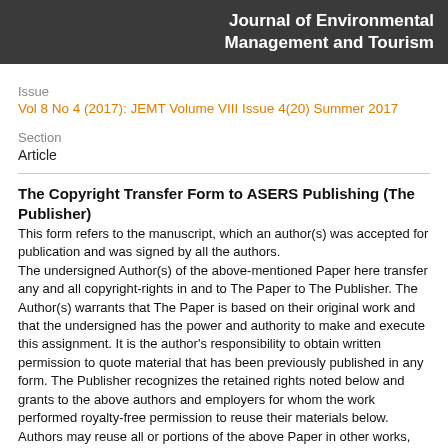Journal of Environmental Management and Tourism
Issue
Vol 8 No 4 (2017): JEMT Volume VIII Issue 4(20) Summer 2017
Section
Article
The Copyright Transfer Form to ASERS Publishing (The Publisher)
This form refers to the manuscript, which an author(s) was accepted for publication and was signed by all the authors. The undersigned Author(s) of the above-mentioned Paper here transfer any and all copyright-rights in and to The Paper to The Publisher. The Author(s) warrants that The Paper is based on their original work and that the undersigned has the power and authority to make and execute this assignment. It is the author's responsibility to obtain written permission to quote material that has been previously published in any form. The Publisher recognizes the retained rights noted below and grants to the above authors and employers for whom the work performed royalty-free permission to reuse their materials below. Authors may reuse all or portions of the above Paper in other works, excepting the publication of the paper in the same form. Authors may reproduce or authorize others to reproduce the above